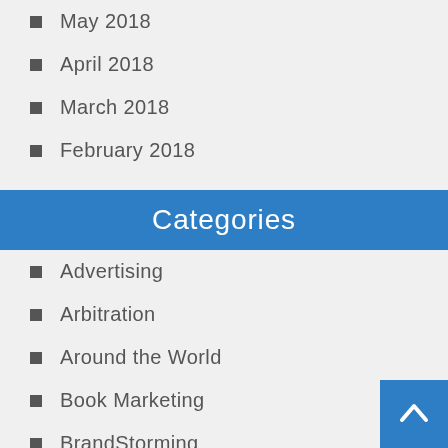May 2018
April 2018
March 2018
February 2018
Categories
Advertising
Arbitration
Around the World
Book Marketing
BrandStorming
Business
Coaching
Ebook
Entrepreneurs